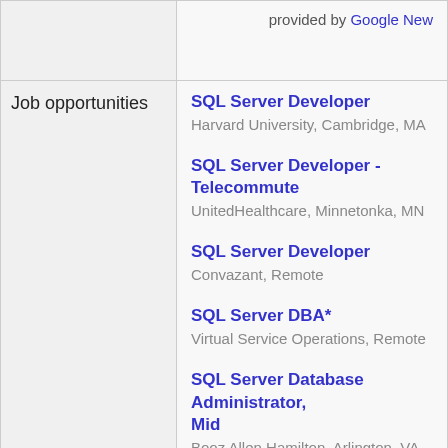provided by Google New
Job opportunities
SQL Server Developer
Harvard University, Cambridge, MA
SQL Server Developer - Telecommute
UnitedHealthcare, Minnetonka, MN
SQL Server Developer
Convazant, Remote
SQL Server DBA*
Virtual Service Operations, Remote
SQL Server Database Administrator, Mid
Booz Allen Hamilton, Arlington, VA